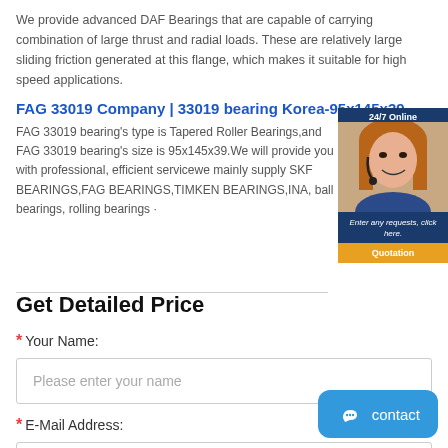We provide advanced DAF Bearings that are capable of carrying combination of large thrust and radial loads. These are relatively large sliding friction generated at this flange, which makes it suitable for high speed applications.
FAG 33019 Company | 33019 bearing Korea-95x145x39
FAG 33019 bearing's type is Tapered Roller Bearings,and FAG 33019 bearing's size is 95x145x39.We will provide you with professional, efficient servicewe mainly supply SKF BEARINGS,FAG BEARINGS,TIMKEN BEARINGS,INA, ball bearings, rolling bearings ·
[Figure (photo): 24/7 Online customer service representative with headset, with quotation button]
Get Detailed Price
* Your Name:
Please enter your name
* E-Mail Address:
Please enter your e-mail
[Figure (illustration): Blue contact button with chat icon]